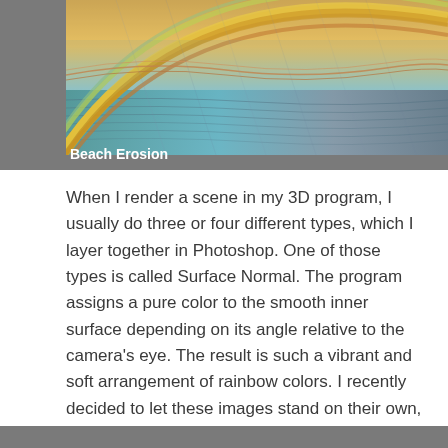[Figure (illustration): Colorful 3D rendered beach erosion image showing vibrant rainbow-colored wave patterns with streaks of gold, blue, teal, and brown against a gray background. Title 'Beach Erosion' appears in white text at the bottom left of the gray frame.]
When I render a scene in my 3D program, I usually do three or four different types, which I layer together in Photoshop. One of those types is called Surface Normal. The program assigns a pure color to the smooth inner surface depending on its angle relative to the camera's eye. The result is such a vibrant and soft arrangement of rainbow colors. I recently decided to let these images stand on their own, because their color transitions and soft curves are so beautiful.